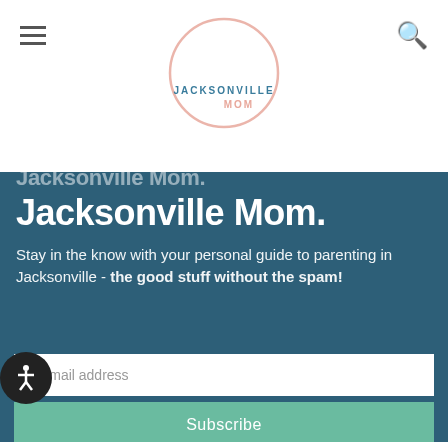Jacksonville Mom — website header with logo
Jacksonville Mom.
Stay in the know with your personal guide to parenting in Jacksonville - the good stuff without the spam!
Email address
Subscribe
our three campuses, E-town/Baymeadows (Opening